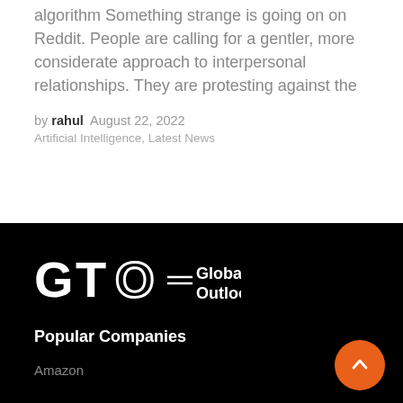algorithm Something strange is going on on Reddit. People are calling for a gentler, more considerate approach to interpersonal relationships. They are protesting against the
by rahul  August 22, 2022
Artificial Intelligence, Latest News
[Figure (logo): GlobalTech Outlook logo with GTO letters and tagline]
Popular Companies
Amazon